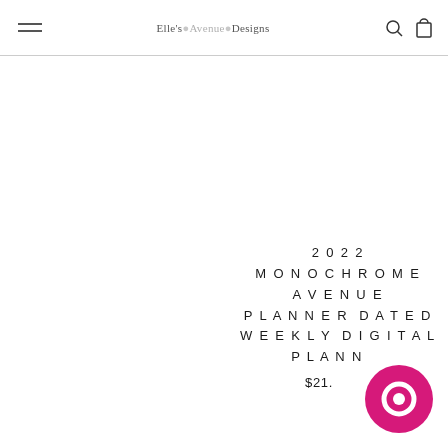Elle's Avenue Designs
2022 MONOCHROME AVENUE PLANNER DATED WEEKLY DIGITAL PLANNER
$21.